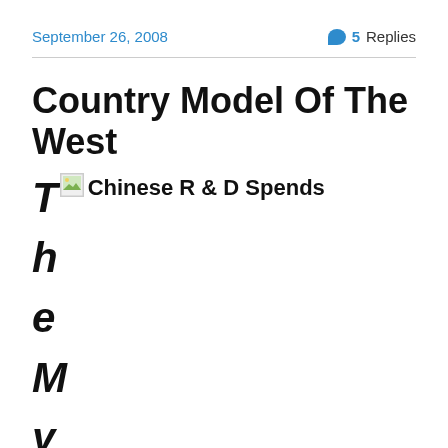September 26, 2008   5 Replies
Country Model Of The West
[Figure (illustration): Broken/missing image placeholder icon with Chinese R & D Spends caption]
T h e M y t